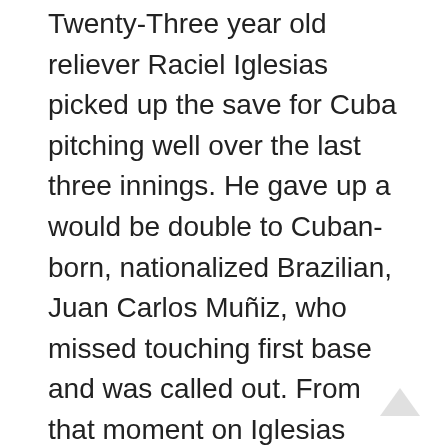Twenty-Three year old reliever Raciel Iglesias picked up the save for Cuba pitching well over the last three innings. He gave up a would be double to Cuban-born, nationalized Brazilian, Juan Carlos Muñiz, who missed touching first base and was called out. From that moment on Iglesias cruised striking out five and allowing only one hit.
With the loss, Brazil, which lost another tough game 5-3 to Japan in its opener, is eliminated but leaves a very good impression in its first WBC appearance. They still have a game against China in